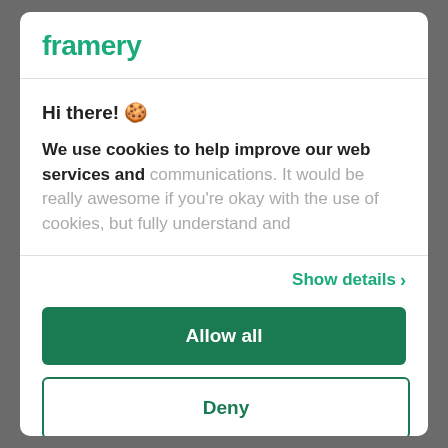framery
Hi there! 🍪

We use cookies to help improve our web services and communications. It would be really awesome if you're okay with the use of cookies, but fully understand and
Show details ›
Allow all
Deny
Powered by Cookiebot by Usercentrics